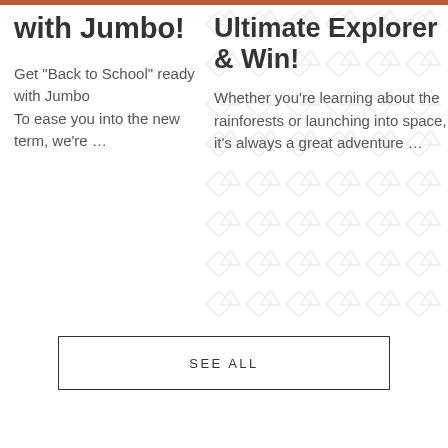with Jumbo!
Get "Back to School" ready with Jumbo
To ease you into the new term, we're …
Ultimate Explorer & Win!
Whether you're learning about the rainforests or launching into space, it's always a great adventure …
SEE ALL